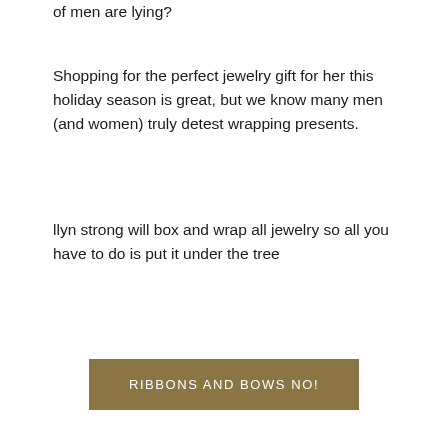of men are lying?
Shopping for the perfect jewelry gift for her this holiday season is great, but we know many men (and women) truly detest wrapping presents.
llyn strong will box and wrap all jewelry so all you have to do is put it under the tree
RIBBONS AND BOWS NO!